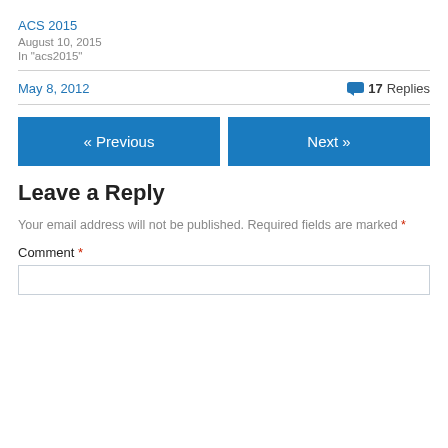ACS 2015
August 10, 2015
In "acs2015"
May 8, 2012   💬 17 Replies
« Previous
Next »
Leave a Reply
Your email address will not be published. Required fields are marked *
Comment *